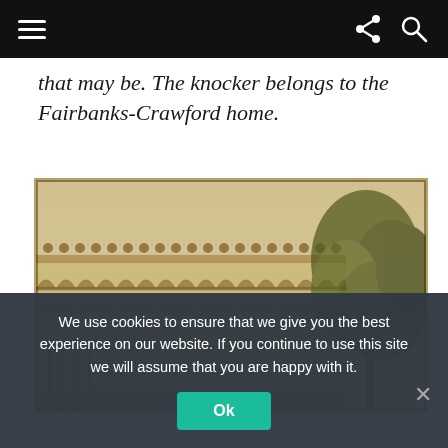[Navigation bar with hamburger menu, share icon, and search icon]
that may be. The knocker belongs to the Fairbanks-Crawford home.
[Figure (photo): Sepia-toned historical photograph showing architectural detail of a building roofline with decorative tile or scalloped molding, and foliage/trees visible on the right side.]
We use cookies to ensure that we give you the best experience on our website. If you continue to use this site we will assume that you are happy with it.